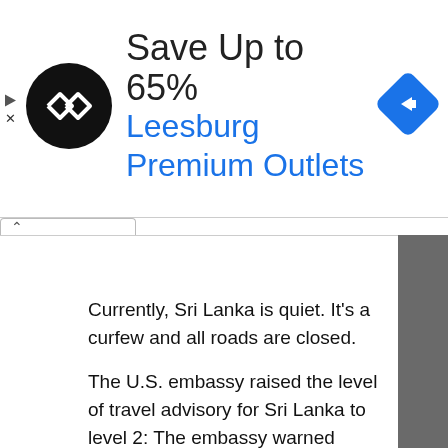[Figure (infographic): Advertisement banner: black circular logo with double arrow chevron icon, text 'Save Up to 65%' in dark, 'Leesburg Premium Outlets' in blue, blue diamond navigation icon on right. Play and close ad controls on left.]
Currently, Sri Lanka is quiet. It's a curfew and all roads are closed.
The U.S. embassy raised the level of travel advisory for Sri Lanka to level 2: The embassy warned terrorist groups to continue plotting possible attacks in Sri Lanka. Terrorists may attack with little or no warning, targeting tourist locations, transportation hubs, markets/shopping malls, local government facilities, hotels, clubs, restaurants, places of worship, parks, major sporting and cultural events, educational institutions, airports, and other public areas.
The White House issued a statement, that the United States condemns in the strongest terms the outrageous terrorist